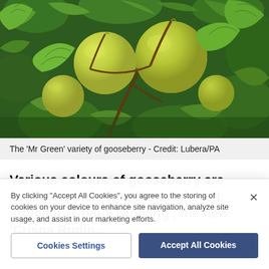[Figure (photo): Close-up photo of green gooseberries on a bush with leaves, the 'Mr Green' variety]
The 'Mr Green' variety of gooseberry - Credit: Lubera/PA
Various colours of gooseberry are available, including the bright red, aromatic 'Crispa Nibbling', the new 'Crispa Ruding' and the yellow-green 'Mr Gro...
By clicking "Accept All Cookies", you agree to the storing of cookies on your device to enhance site navigation, analyze site usage, and assist in our marketing efforts.
Cookies Settings
Accept All Cookies